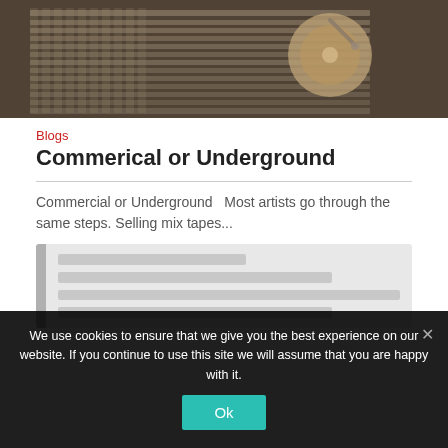[Figure (photo): Sepia-toned aerial or overhead photo of a music studio mixing console with turntable/record player visible]
Blogs
Commerical or Underground
Commercial or Underground  Most artists go through the same steps. Selling mix tapes...
[Figure (other): Placeholder card with gray background, partially visible]
We use cookies to ensure that we give you the best experience on our website. If you continue to use this site we will assume that you are happy with it.
Ok